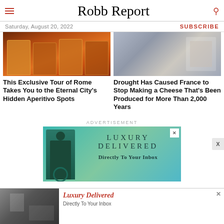Robb Report — Saturday, August 20, 2022 — SUBSCRIBE
[Figure (photo): Amber whisky glasses viewed from above on dark background]
This Exclusive Tour of Rome Takes You to the Eternal City's Hidden Aperitivo Spots
[Figure (photo): Person in white gloves handling food or cheese]
Drought Has Caused France to Stop Making a Cheese That's Been Produced for More Than 2,000 Years
ADVERTISEMENT
[Figure (photo): Advertisement: LUXURY DELIVERED — Directly To Your Inbox. Teal/green background with figure on left side.]
[Figure (photo): Bottom banner ad: Luxury Delivered Directly To Your Inbox. Black and white photo of man on left.]